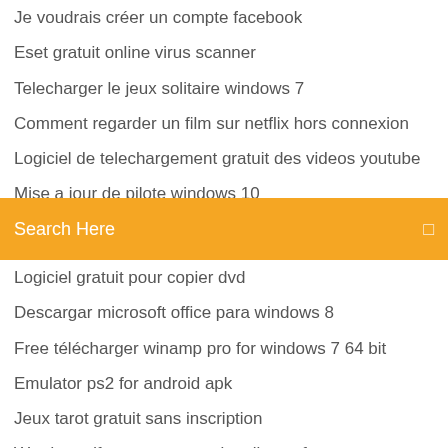Je voudrais créer un compte facebook
Eset gratuit online virus scanner
Telecharger le jeux solitaire windows 7
Comment regarder un film sur netflix hors connexion
Logiciel de telechargement gratuit des videos youtube
Mise a jour de pilote windows 10
[Figure (screenshot): Orange search bar with text 'Search Here' and a small icon on the right]
Logiciel gratuit pour copier dvd
Descargar microsoft office para windows 8
Free télécharger winamp pro for windows 7 64 bit
Emulator ps2 for android apk
Jeux tarot gratuit sans inscription
Word to pdf converter gratuit online software
Mise a jour de pilote windows 10
Comment ouvrir un fichier pdf avec microsoft word
Jeu de mot mele gratuit en francais
Imprimante hp photosmart c5200 series
Dragon age inquisition téléchargement...